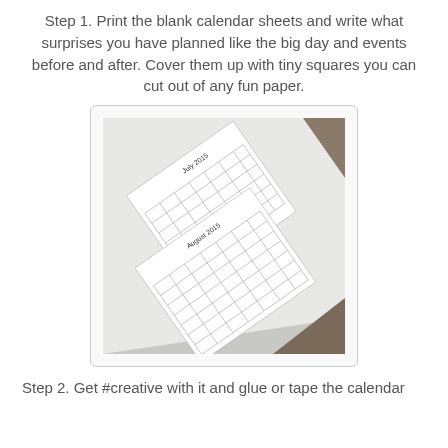Step 1. Print the blank calendar sheets and write what surprises you have planned like the big day and events before and after. Cover them up with tiny squares you can cut out of any fun paper.
[Figure (photo): Photo of two printed blank calendar sheets (July 2015 and August 2015) laid diagonally on a white surface, showing grid calendar layouts rotated at an angle.]
Step 2. Get #creative with it and glue or tape the calendar